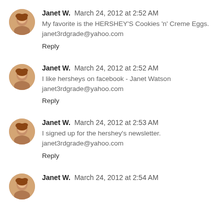Janet W.  March 24, 2012 at 2:52 AM
My favorite is the HERSHEY'S Cookies 'n' Creme Eggs.
janet3rdgrade@yahoo.com
Reply
Janet W.  March 24, 2012 at 2:52 AM
I like hersheys on facebook - Janet Watson
janet3rdgrade@yahoo.com
Reply
Janet W.  March 24, 2012 at 2:53 AM
I signed up for the hershey's newsletter.
janet3rdgrade@yahoo.com
Reply
Janet W.  March 24, 2012 at 2:54 AM